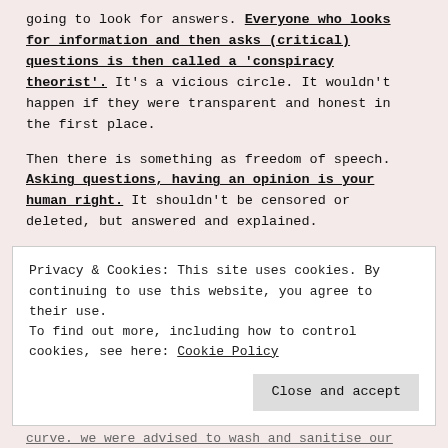going to look for answers. Everyone who looks for information and then asks (critical) questions is then called a 'conspiracy theorist'. It's a vicious circle. It wouldn't happen if they were transparent and honest in the first place.
Then there is something as freedom of speech. Asking questions, having an opinion is your human right. It shouldn't be censored or deleted, but answered and explained.
THE NEW NORMAL
Bill Gates said that he wants to vaccinate the
Privacy & Cookies: This site uses cookies. By continuing to use this website, you agree to their use.
To find out more, including how to control cookies, see here: Cookie Policy
curve. We were advised to wash and sanitise our